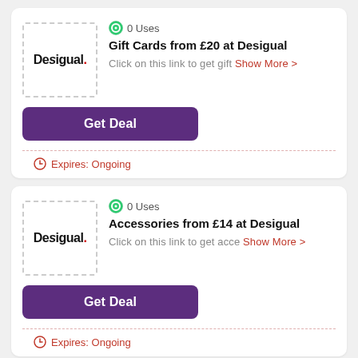[Figure (logo): Desigual logo in dashed border box]
0 Uses
Gift Cards from £20 at Desigual
Click on this link to get gift Show More >
Get Deal
Expires: Ongoing
[Figure (logo): Desigual logo in dashed border box]
0 Uses
Accessories from £14 at Desigual
Click on this link to get acce Show More >
Get Deal
Expires: Ongoing